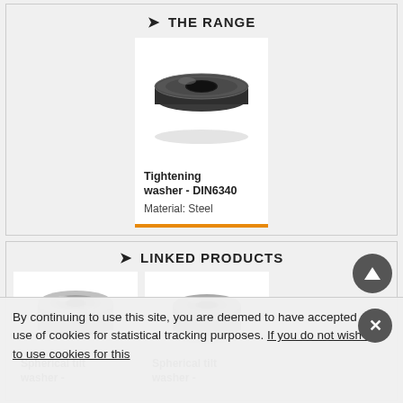THE RANGE
[Figure (photo): Photo of a tightening washer (DIN6340) - dark steel washer viewed from above]
Tightening washer - DIN6340
Material: Steel
LINKED PRODUCTS
[Figure (photo): Photo of a spherical tilt washer - silver/chrome colored]
Spherical tilt washer -
[Figure (photo): Photo of a spherical tilt washer - gray metallic colored]
Spherical tilt washer -
By continuing to use this site, you are deemed to have accepted our use of cookies for statistical tracking purposes. If you do not wish us to use cookies for this